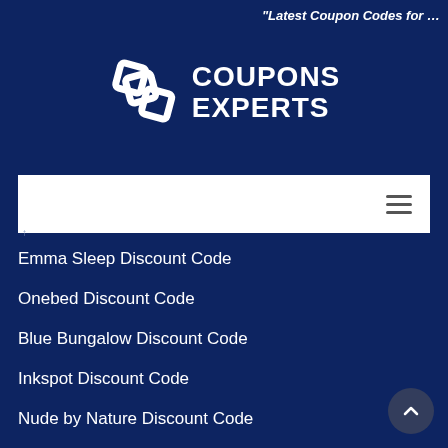"Latest Coupon Codes for …
[Figure (logo): Coupons Experts logo with interlocking squares icon and text COUPONS EXPERTS]
[Figure (screenshot): White navigation bar with hamburger menu icon on the right]
Emma Sleep Discount Code
Onebed Discount Code
Blue Bungalow Discount Code
Inkspot Discount Code
Nude by Nature Discount Code
Blue Illusion Discount Code